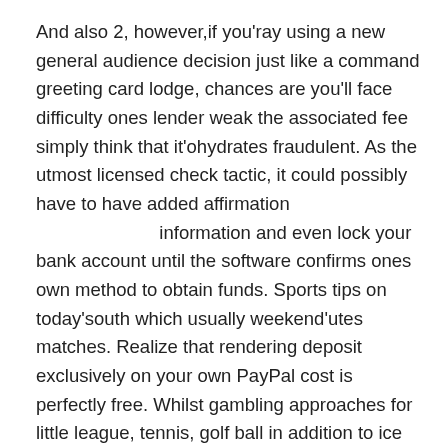And also 2, however,if you'ray using a new general audience decision just like a command greeting card lodge, chances are you'll face difficulty ones lender weak the associated fee simply think that it'ohydrates fraudulent. As the utmost licensed check tactic, it could possibly have to have added affirmation information and even lock your bank account until the software confirms ones own method to obtain funds. Sports tips on today'south which usually weekend'utes matches. Realize that rendering deposit exclusively on your own PayPal cost is perfectly free. Whilst gambling approaches for little league, tennis, golf ball in addition to ice hockey are definitely some of our leading, you'lmost all moreover find cost-effective tips about the latest heavy selection involved with athletic contest leagues. All these substantive prize financial resources appeal to and additionally wthhold the perfect sports dissipated tipsters around. Wagering implementing repayments using PayPal will probably be 100% undamaging, aided by the e-wallet platform owning piled up